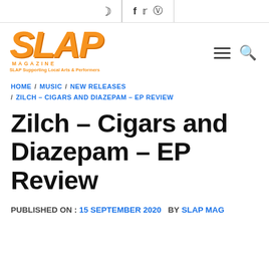🌙 f y IG
[Figure (logo): SLAP Magazine logo in orange with tagline 'SLAP Supporting Local Arts & Performers']
HOME / MUSIC / NEW RELEASES / ZILCH – CIGARS AND DIAZEPAM – EP REVIEW
Zilch – Cigars and Diazepam – EP Review
PUBLISHED ON : 15 SEPTEMBER 2020   BY SLAP MAG